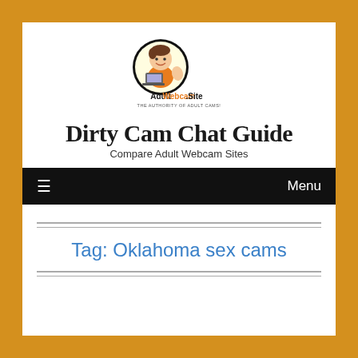[Figure (logo): AdultWebcam.Site logo — cartoon character with laptop giving thumbs up inside a circular badge, with text 'AdultWebcam.Site THE AUTHORITY OF ADULT CAMS!']
Dirty Cam Chat Guide
Compare Adult Webcam Sites
≡  Menu
Tag: Oklahoma sex cams